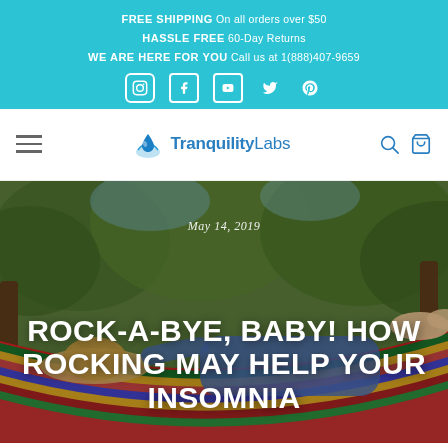FREE SHIPPING On all orders over $50
HASSLE FREE 60-Day Returns
WE ARE HERE FOR YOU Call us at 1(888)407-9659
[Figure (logo): Tranquility Labs logo with water drop icon and text]
[Figure (photo): Person relaxing in a colorful striped hammock outdoors with trees in background]
May 14, 2019
ROCK-A-BYE, BABY! HOW ROCKING MAY HELP YOUR INSOMNIA